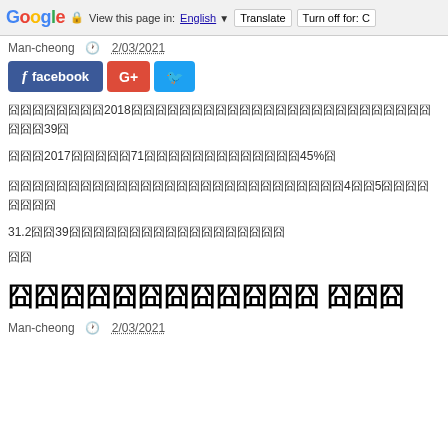Google  View this page in: English [▼]  Translate  Turn off for: C
Man-cheong  🕐 2/03/2021
[Figure (other): Social sharing buttons: facebook, G+, Twitter]
囧囧囧囧囧囧囧囧2018囧囧囧囧囧囧囧囧囧囧囧囧囧囧囧囧囧囧囧囧囧囧囧囧囧囧囧囧39囧
囧囧囧2017囧囧囧囧囧71囧囧囧囧囧囧囧囧囧囧囧囧囧45%囧
囧囧囧囧囧囧囧囧囧囧囧囧囧囧囧囧囧囧囧囧囧囧囧囧囧囧囧囧4囧囧5囧囧囧囧囧囧囧囧
31.2囧囧39囧囧囧囧囧囧囧囧囧囧囧囧囧囧囧囧囧囧
囧囧
囧囧囧囧囧囧囧囧囧囧囧囧 囧囧囧
Man-cheong  🕐 2/03/2021